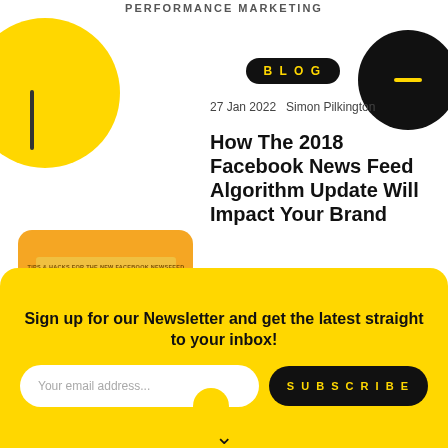PERFORMANCE MARKETING
BLOG
27 Jan 2022  Simon Pilkington
How The 2018 Facebook News Feed Algorithm Update Will Impact Your Brand
[Figure (illustration): Blog post thumbnail: cartoon of a person in yellow shirt pointing at a Facebook-style interface with a question mark, on an orange rounded-rectangle background with a banner reading TIPS & HACKS FOR THE NEW FACEBOOK NEWSFEED]
FACEBOOK
FACEBOOK ADVERTISING
REMARKETING
Sign up for our Newsletter and get the latest straight to your inbox!
Your email address...
SUBSCRIBE